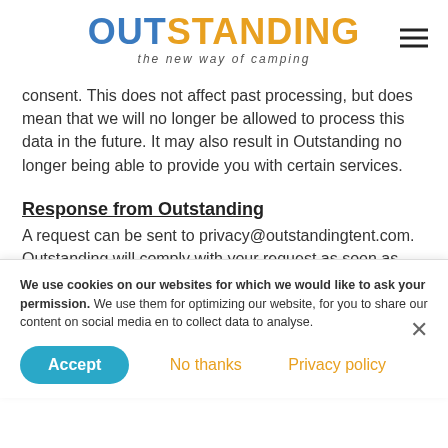OUTSTANDING the new way of camping
consent. This does not affect past processing, but does mean that we will no longer be allowed to process this data in the future. It may also result in Outstanding no longer being able to provide you with certain services.
Response from Outstanding
A request can be sent to privacy@outstandingtent.com. Outstanding will comply with your request as soon as possible and in any case no later than one (1) month after Outstanding receives the request. If Outstanding rejects your request, we will indicate in our reply why the request was rejected.
We use cookies on our websites for which we would like to ask your permission. We use them for optimizing our website, for you to share our content on social media en to collect data to analyse.
Accept   No thanks   Privacy policy
Recipients of your personal data